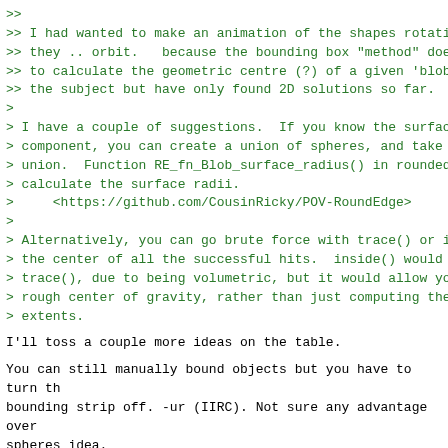>>
>> I had wanted to make an animation of the shapes rotating
>> they .. orbit.   because the bounding box "method" doesn'
>> to calculate the geometric centre (?) of a given 'blob'.
>> the subject but have only found 2D solutions so far.  hel
>
> I have a couple of suggestions.  If you know the surface r
> component, you can create a union of spheres, and take the
> union.  Function RE_fn_Blob_surface_radius() in roundedge.
> calculate the surface radii.
>     <https://github.com/CousinRicky/POV-RoundEdge>
>
> Alternatively, you can go brute force with trace() or insi
> the center of all the successful hits.  inside() would tak
> trace(), due to being volumetric, but it would allow you t
> rough center of gravity, rather than just computing the ce
> extents.
I'll toss a couple more ideas on the table.
You can still manually bound objects but you have to turn th
bounding strip off. -ur (IIRC). Not sure any advantage over
spheres idea.
The blob object is one of two objects supporting a potential
itself. Further I think is uses effectively 'raw_wave' inter
it's not brought all the way out to an official keyword in v
it is in povr. It should be you can sample actual blob inter
too though unsure if any better than trace/inside testing. T
inside value (most positive IIRC with blobs) won't necessari
center of mass depending on the shape and construction.